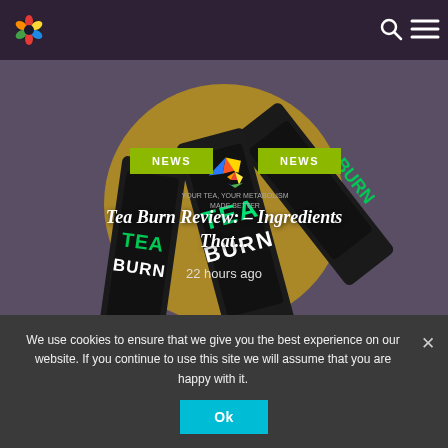Navigation bar with logo, search, and menu icons
[Figure (screenshot): Hero image showing Tea Burn product packages (black elongated sachets with Tea Burn branding in green/teal and multicolor logo) arranged diagonally against a dark purple-grey background with a golden/mustard yellow circle]
NEWS
NEWS
Tea Burn Review: – Ingredients That...
22 hours ago
We use cookies to ensure that we give you the best experience on our website. If you continue to use this site we will assume that you are happy with it.
Ok